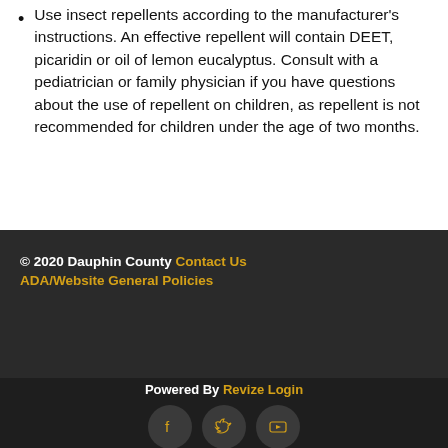Use insect repellents according to the manufacturer's instructions. An effective repellent will contain DEET, picaridin or oil of lemon eucalyptus. Consult with a pediatrician or family physician if you have questions about the use of repellent on children, as repellent is not recommended for children under the age of two months.
© 2020 Dauphin County Contact Us ADA/Website General Policies
Powered By Revize Login